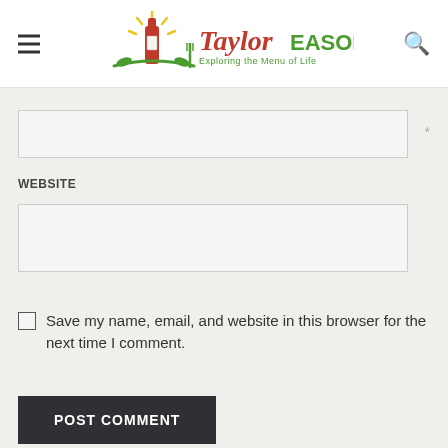Taylor-EASON Exploring the Menu of Life
*
WEBSITE
Save my name, email, and website in this browser for the next time I comment.
POST COMMENT